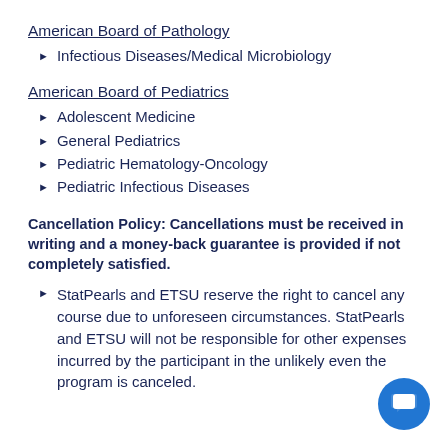American Board of Pathology
Infectious Diseases/Medical Microbiology
American Board of Pediatrics
Adolescent Medicine
General Pediatrics
Pediatric Hematology-Oncology
Pediatric Infectious Diseases
Cancellation Policy: Cancellations must be received in writing and a money-back guarantee is provided if not completely satisfied.
StatPearls and ETSU reserve the right to cancel any course due to unforeseen circumstances. StatPearls and ETSU will not be responsible for other expenses incurred by the participant in the unlikely event the program is canceled.